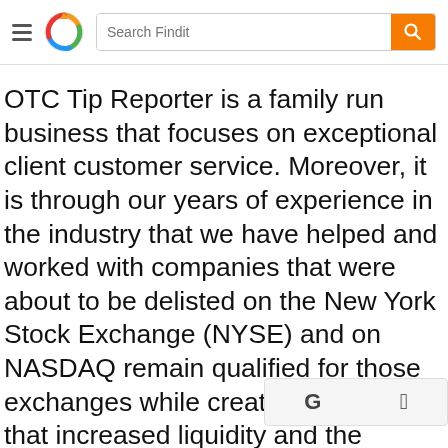Search Findit [navigation bar with hamburger menu, logo, search field, and orange search button]
OTC Tip Reporter is a family run business that focuses on exceptional client customer service. Moreover, it is through our years of experience in the industry that we have helped and worked with companies that were about to be delisted on the New York Stock Exchange (NYSE) and on NASDAQ remain qualified for those exchanges while creating visibility that increased liquidity and the market cap for these companies. Our investor relations packages are second to none in gaining the top-of- mind advantage your company deserves.